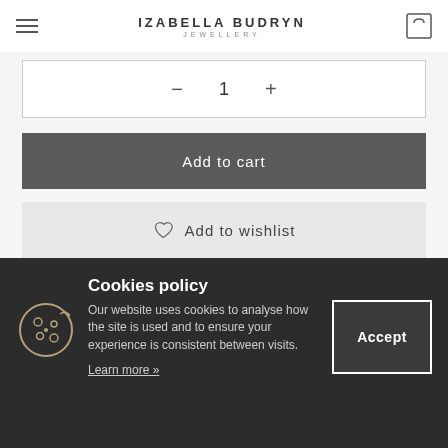IZABELLA BUDRYN JEWELLERY
− 1 +
Add to cart
Add to wishlist
SKU: NCK 58   Categories: Jewelry, Necklaces
Cookies policy
Our website uses cookies to analyse how the site is used and to ensure your experience is consistent between visits.
Learn more »
Accept